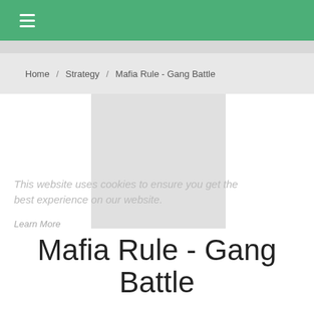≡
Home / Strategy / Mafia Rule - Gang Battle
[Figure (photo): Placeholder image area for Mafia Rule - Gang Battle game with cookie consent overlay text: 'This website uses cookies to ensure you get the best experience on our website' and a 'Learn More' link]
Mafia Rule - Gang Battle
By BHome
- ☆ - Rated 0 stars out of five star
- 👤 - 0 Total